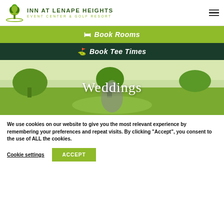[Figure (logo): Inn at Lenape Heights logo with tree icon, text 'INN AT LENAPE HEIGHTS' and subtitle 'EVENT CENTER & GOLF RESORT']
Book Rooms
Book Tee Times
[Figure (photo): Couple embracing/kissing on a golf course with trees in background, with 'Weddings' text overlay]
We use cookies on our website to give you the most relevant experience by remembering your preferences and repeat visits. By clicking “Accept”, you consent to the use of ALL the cookies.
Cookie settings
ACCEPT